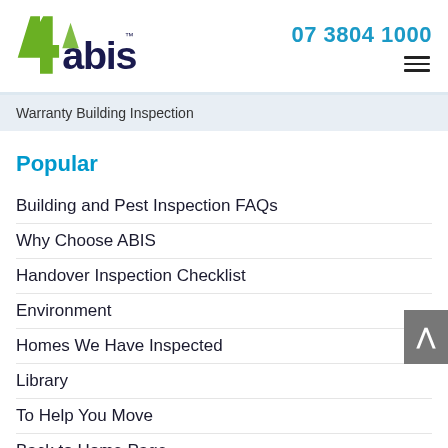[Figure (logo): 4abis company logo with green numeral 4 and dark blue 'abis' text with TM mark]
07 3804 1000
Warranty Building Inspection
Popular
Building and Pest Inspection FAQs
Why Choose ABIS
Handover Inspection Checklist
Environment
Homes We Have Inspected
Library
To Help You Move
Back to Home Page